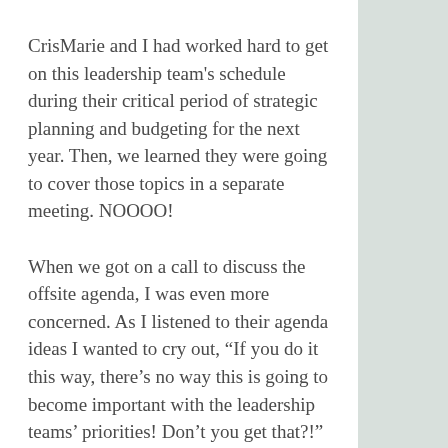CrisMarie and I had worked hard to get on this leadership team's schedule during their critical period of strategic planning and budgeting for the next year. Then, we learned they were going to cover those topics in a separate meeting. NOOOO!
When we got on a call to discuss the offsite agenda, I was even more concerned. As I listened to their agenda ideas I wanted to cry out, “If you do it this way, there’s no way this is going to become important with the leadership teams’ priorities! Don’t you get that?!”
Fortunately, I contained my